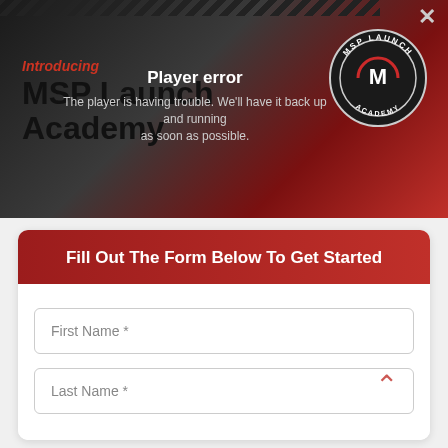[Figure (screenshot): Video player showing MSP Launch Academy intro with a player error overlay. Background shows dark gradient with red diagonal design and MSP Launch Academy logo badge. Error message reads: Player error / The player is having trouble. We'll have it back up and running as soon as possible.]
Fill Out The Form Below To Get Started
First Name *
Last Name *